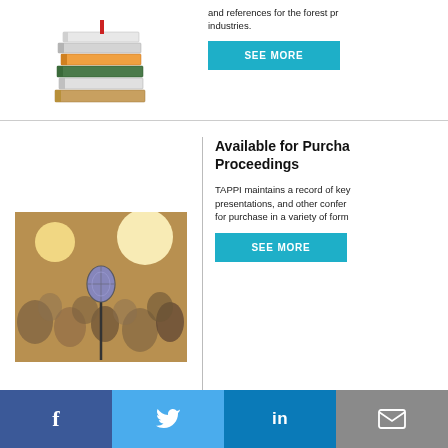[Figure (photo): Stack of books photo at top left]
and references for the forest pr... industries.
SEE MORE
[Figure (photo): Conference audience with microphone in foreground, blurred background]
Available for Purchase Proceedings
TAPPI maintains a record of key presentations, and other confer... for purchase in a variety of form...
SEE MORE
f  (Twitter bird)  in  (email icon)